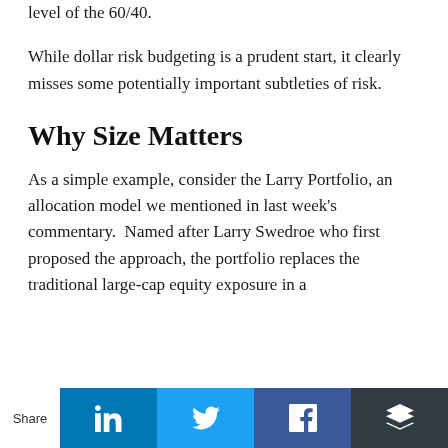level of the 60/40.
While dollar risk budgeting is a prudent start, it clearly misses some potentially important subtleties of risk.
Why Size Matters
As a simple example, consider the Larry Portfolio, an allocation model we mentioned in last week’s commentary.  Named after Larry Swedroe who first proposed the approach, the portfolio replaces the traditional large-cap equity exposure in a
Share